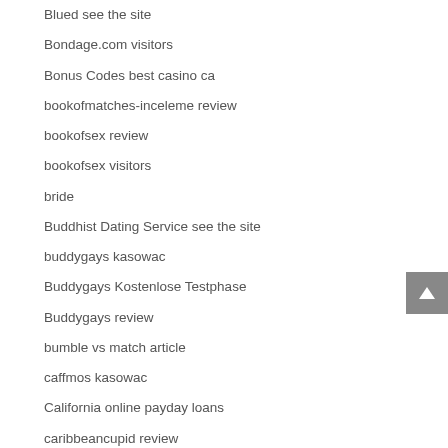Blued see the site
Bondage.com visitors
Bonus Codes best casino ca
bookofmatches-inceleme review
bookofsex review
bookofsex visitors
bride
Buddhist Dating Service see the site
buddygays kasowac
Buddygays Kostenlose Testphase
Buddygays review
bumble vs match article
caffmos kasowac
California online payday loans
caribbeancupid review